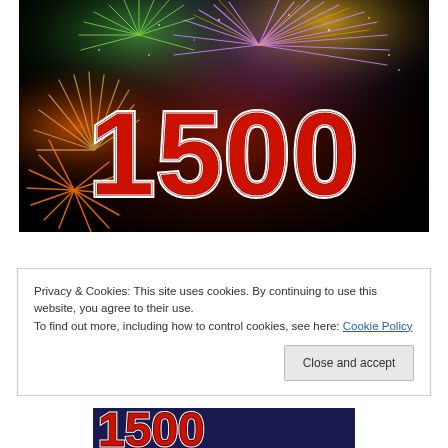[Figure (photo): Fireworks display on black background with bold red number '1500' overlaid in large text with white outline]
Privacy & Cookies: This site uses cookies. By continuing to use this website, you agree to their use.
To find out more, including how to control cookies, see here: Cookie Policy
[Figure (photo): Bottom strip showing partial view of '1500' text in blue/dark background]